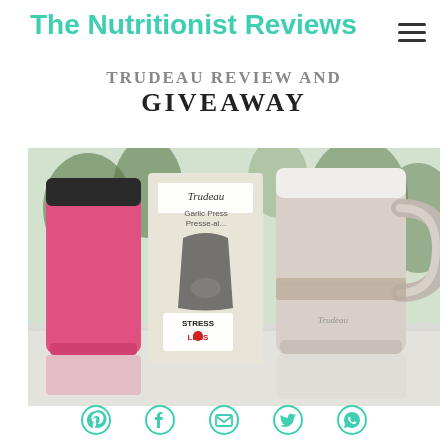The Nutritionist Reviews
TRUDEAU REVIEW AND GIVEAWAY
[Figure (photo): Photo of Trudeau products on a table: a pink travel mug, a Trudeau Garlic Press in packaging with Stress Less branding, and a beige/white travel mug with handle. Background shows trees through a window.]
Social share icons: Pinterest, Facebook, Email, Twitter, WhatsApp